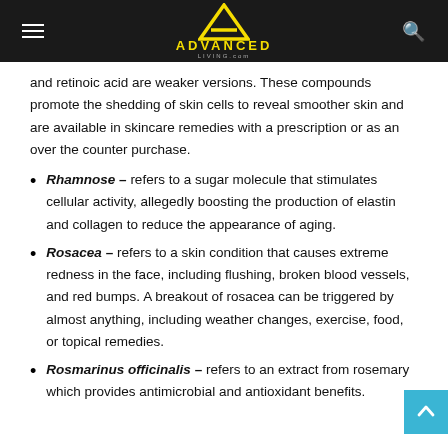Advanced Living
and retinoic acid are weaker versions. These compounds promote the shedding of skin cells to reveal smoother skin and are available in skincare remedies with a prescription or as an over the counter purchase.
Rhamnose – refers to a sugar molecule that stimulates cellular activity, allegedly boosting the production of elastin and collagen to reduce the appearance of aging.
Rosacea – refers to a skin condition that causes extreme redness in the face, including flushing, broken blood vessels, and red bumps. A breakout of rosacea can be triggered by almost anything, including weather changes, exercise, food, or topical remedies.
Rosmarinus officinalis – refers to an extract from rosemary which provides antimicrobial and antioxidant benefits.